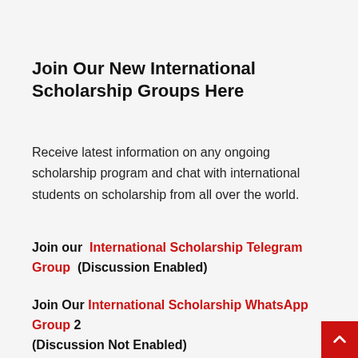Join Our New International Scholarship Groups Here
Receive latest information on any ongoing scholarship program and chat with international students on scholarship from all over the world.
Join our  International Scholarship Telegram Group  (Discussion Enabled)
Join Our International Scholarship WhatsApp Group 2 (Discussion Not Enabled)